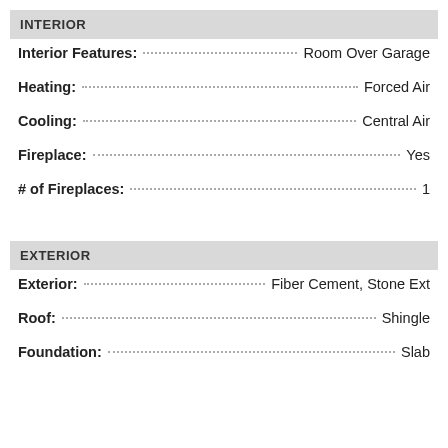INTERIOR
Interior Features: Room Over Garage
Heating: Forced Air
Cooling: Central Air
Fireplace: Yes
# of Fireplaces: 1
EXTERIOR
Exterior: Fiber Cement, Stone Ext
Roof: Shingle
Foundation: Slab